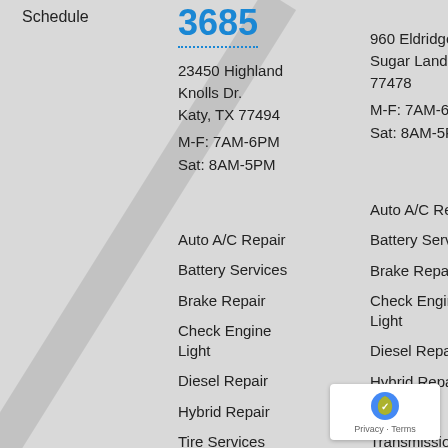Schedule
3685
23450 Highland Knolls Dr.
Katy, TX 77494
M-F: 7AM-6PM
Sat: 8AM-5PM
960 Eldridge Rd.
Sugar Land, TX 77478
M-F: 7AM-6PM
Sat: 8AM-5PM
Auto A/C Repair
Battery Services
Brake Repair
Check Engine Light
Diesel Repair
Hybrid Repair
Tire Services
Auto A/C Repair
Battery Services
Brake Repair
Check Engine Light
Diesel Repair
Hybrid Repair
Tire Services
Transmission